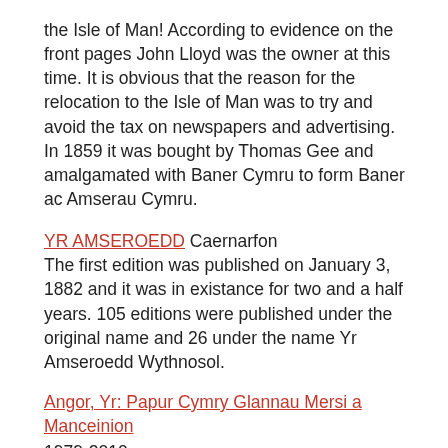the Isle of Man! According to evidence on the front pages John Lloyd was the owner at this time. It is obvious that the reason for the relocation to the Isle of Man was to try and avoid the tax on newspapers and advertising. In 1859 it was bought by Thomas Gee and amalgamated with Baner Cymru to form Baner ac Amserau Cymru.
YR AMSEROEDD Caernarfon
The first edition was published on January 3, 1882 and it was in existance for two and a half years. 105 editions were published under the original name and 26 under the name Yr Amseroedd Wythnosol.
Angor, Yr: Papur Cymry Glannau Mersi a Manceinion
1979-2010
An Claidheamh Soluis, 1912